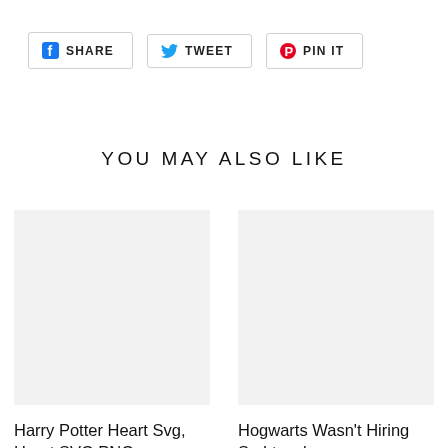[Figure (screenshot): Social share buttons row: SHARE (Facebook), TWEET (Twitter), PIN IT (Pinterest)]
YOU MAY ALSO LIKE
[Figure (photo): Product image placeholder for Harry Potter Heart Svg, Heart SVG PNG]
Harry Potter Heart Svg, Heart SVG PNG
[Figure (photo): Product image placeholder for Hogwarts Wasn't Hiring So I teach]
Hogwarts Wasn't Hiring So I teach